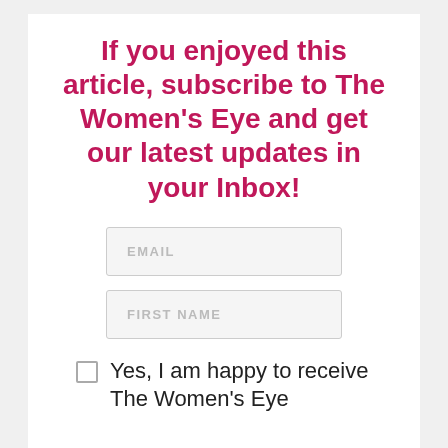If you enjoyed this article, subscribe to The Women's Eye and get our latest updates in your Inbox!
EMAIL
FIRST NAME
Yes, I am happy to receive The Women's Eye